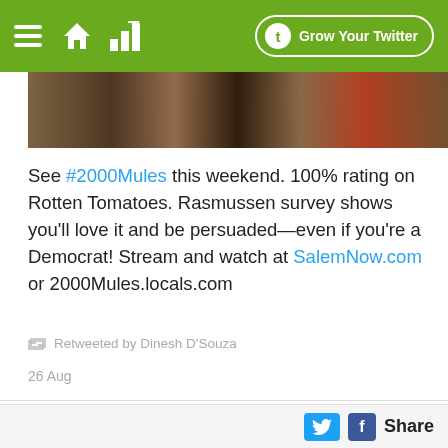Grow Your Twitter
[Figure (screenshot): Partial image at top of tweet, showing colorful scene]
See #2000Mules this weekend. 100% rating on Rotten Tomatoes. Rasmussen survey shows you'll love it and be persuaded—even if you're a Democrat! Stream and watch at SalemNow.com or 2000Mules.locals.com
Retweeted by Dinesh D'Souza
26 Aug
Dinesh D'Souza @DineshDSouza
[Figure (screenshot): Simpsons characters holding 2000 Mules signs]